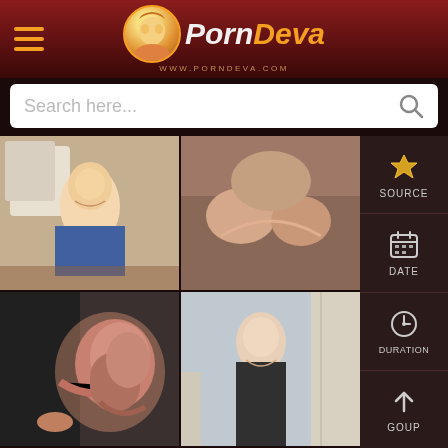PornDeva - www.porndeva.com
Search here...
[Figure (screenshot): Video thumbnail grid showing adult content website PornDeva with 6 video thumbnails arranged in 2 columns and sidebar with SOURCE, DATE, DURATION, GOUP filter options]